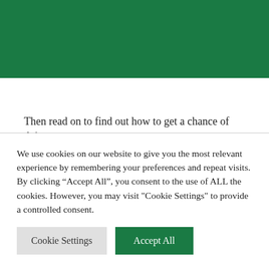Then read on to find out how to get a chance of doing so.
Manchester United are playing Liverpool at Old Trafford on Saturday 12th September 2015 (kick off 5.30pm), and thanks to a very generous 1874 supporter, 2 tickets are available for
We use cookies on our website to give you the most relevant experience by remembering your preferences and repeat visits. By clicking “Accept All”, you consent to the use of ALL the cookies. However, you may visit "Cookie Settings" to provide a controlled consent.